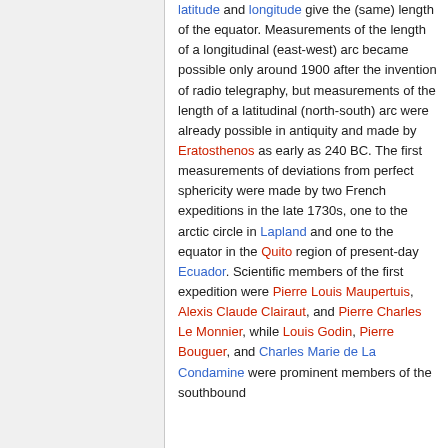latitude and longitude give the (same) length of the equator. Measurements of the length of a longitudinal (east-west) arc became possible only around 1900 after the invention of radio telegraphy, but measurements of the length of a latitudinal (north-south) arc were already possible in antiquity and made by Eratosthenos as early as 240 BC. The first measurements of deviations from perfect sphericity were made by two French expeditions in the late 1730s, one to the arctic circle in Lapland and one to the equator in the Quito region of present-day Ecuador. Scientific members of the first expedition were Pierre Louis Maupertuis, Alexis Claude Clairaut, and Pierre Charles Le Monnier, while Louis Godin, Pierre Bouguer, and Charles Marie de La Condamine were prominent members of the southbound